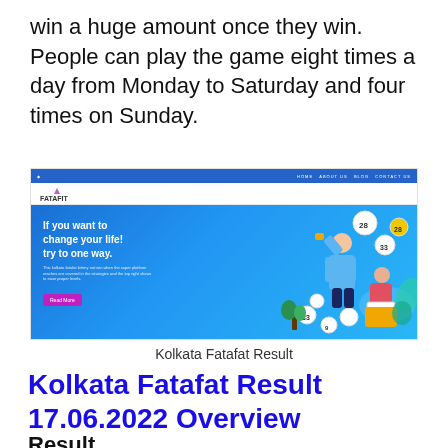win a huge amount once they win. People can play the game eight times a day from Monday to Saturday and four times on Sunday.
[Figure (screenshot): Screenshot of the Kolkata Fatafat Result website homepage showing a blue hero banner with the text 'If you want to change your life! try to one way.' and lottery ball illustrations.]
Kolkata Fatafat Result
Kolkata Fatafat Result 17.06.2022 Overview
Result